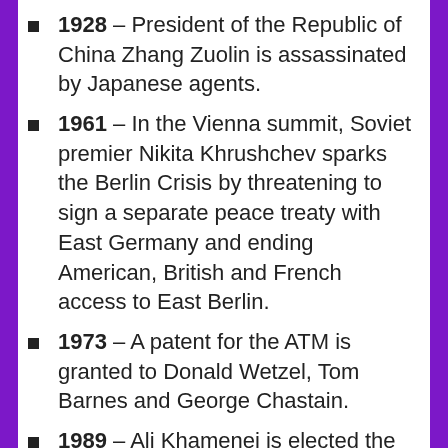1928 – President of the Republic of China Zhang Zuolin is assassinated by Japanese agents.
1961 – In the Vienna summit, Soviet premier Nikita Khrushchev sparks the Berlin Crisis by threatening to sign a separate peace treaty with East Germany and ending American, British and French access to East Berlin.
1973 – A patent for the ATM is granted to Donald Wetzel, Tom Barnes and George Chastain.
1989 – Ali Khamenei is elected the new Supreme Leader of Islamic republic of Iran by the Assembly of Experts after the death of Ayatollah Ruhollah Khomeini.
1989 – Solidarity's victory in the first (somewhat) free parliamentary elections in